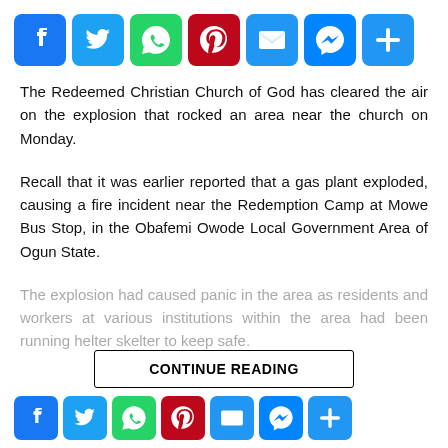[Figure (infographic): Social share buttons row: Facebook (blue), Twitter (blue), WhatsApp (green), Pinterest (red), Email (blue), Messenger (blue), Share/Plus (blue)]
The Redeemed Christian Church of God has cleared the air on the explosion that rocked an area near the church on Monday.
Recall that it was earlier reported that a gas plant exploded, causing a fire incident near the Redemption Camp at Mowe Bus Stop, in the Obafemi Owode Local Government Area of Ogun State.
The explosion had caused panic in the area as residents and workers at various institutions within the area had been running helter skelter to keep safe.
CONTINUE READING
[Figure (infographic): Social share buttons row (bottom): Facebook (blue), Twitter (blue), WhatsApp (green), Pinterest (red), Email (blue), Messenger (blue), Share/Plus (blue)]